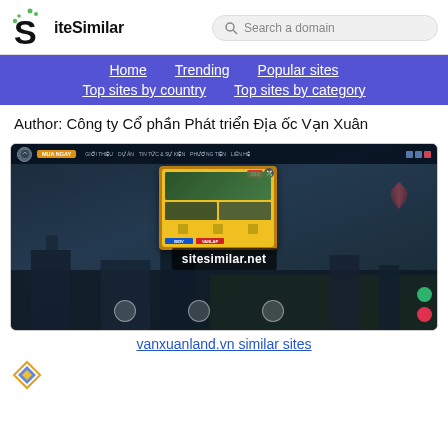[Figure (logo): SiteSimilar logo with stylized S and green dots]
Search a domain
Home   Trending   Popular sites   Top sites by country   Top sites by category
Author: Công ty Cổ phần Phát triển Địa ốc Vạn Xuân
[Figure (screenshot): Screenshot of vanxuanland.vn website showing a real estate portal with building imagery and a yellow promotional popup card with sitesimilar.net watermark]
vanxuanland.vn similar sites
[Figure (logo): Another site logo at the bottom, yellow/blue diamond shape]